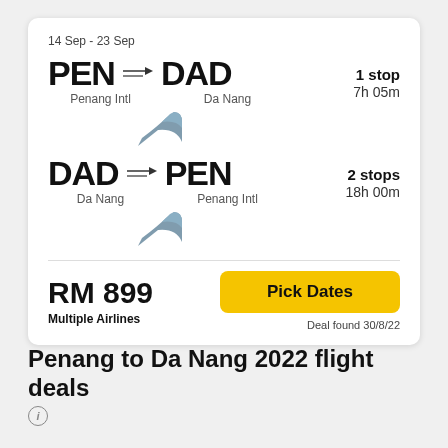14 Sep - 23 Sep
PEN → DAD  Penang Intl  Da Nang  1 stop  7h 05m
DAD → PEN  Da Nang  Penang Intl  2 stops  18h 00m
RM 899
Multiple Airlines
Pick Dates
Deal found 30/8/22
Penang to Da Nang 2022 flight deals